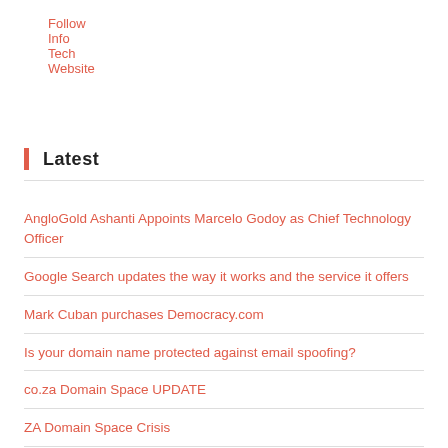Follow Info Tech Website
Latest
AngloGold Ashanti Appoints Marcelo Godoy as Chief Technology Officer
Google Search updates the way it works and the service it offers
Mark Cuban purchases Democracy.com
Is your domain name protected against email spoofing?
co.za Domain Space UPDATE
ZA Domain Space Crisis
noreply@